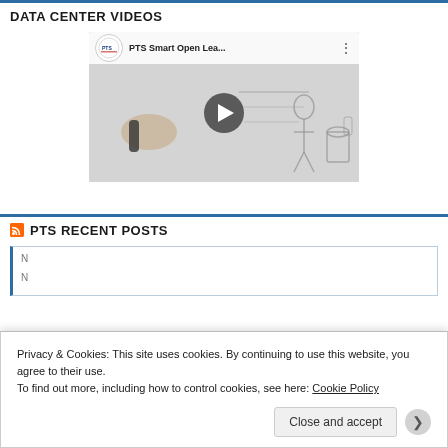DATA CENTER VIDEOS
[Figure (screenshot): YouTube-style video thumbnail showing PTS Smart Open Lea... with play button, PTS logo, and a whiteboard animation sketch of a person writing and lab equipment in the background.]
PTS RECENT POSTS
Privacy & Cookies: This site uses cookies. By continuing to use this website, you agree to their use.
To find out more, including how to control cookies, see here: Cookie Policy
Close and accept